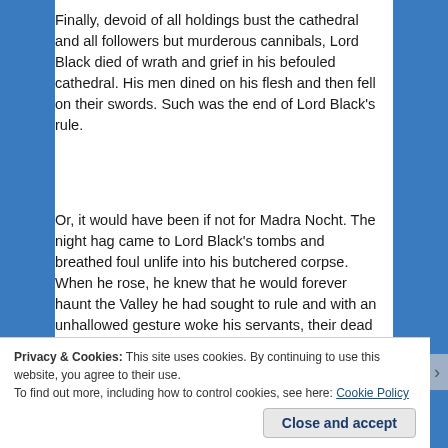Finally, devoid of all holdings bust the cathedral and all followers but murderous cannibals, Lord Black died of wrath and grief in his befouled cathedral. His men dined on his flesh and then fell on their swords. Such was the end of Lord Black's rule.
Or, it would have been if not for Madra Nocht. The night hag came to Lord Black's tombs and breathed foul unlife into his butchered corpse. When he rose, he knew that he would forever haunt the Valley he had sought to rule and with an unhallowed gesture woke his servants, their dead bellies still full of his flesh.
Privacy & Cookies: This site uses cookies. By continuing to use this website, you agree to their use. To find out more, including how to control cookies, see here: Cookie Policy